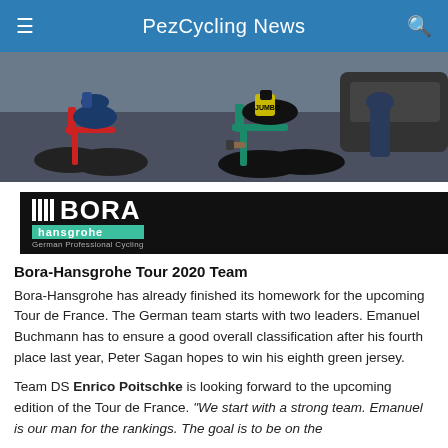PezCycling News
[Figure (photo): Cyclists racing, including a rider in Jumbo-Visma kit and a rider in Lotto kit, close-up action shot]
[Figure (logo): BORA-hansgrohe German Professional Cycling team logo on black background]
Bora-Hansgrohe Tour 2020 Team
Bora-Hansgrohe has already finished its homework for the upcoming Tour de France. The German team starts with two leaders. Emanuel Buchmann has to ensure a good overall classification after his fourth place last year, Peter Sagan hopes to win his eighth green jersey.
Team DS Enrico Poitschke is looking forward to the upcoming edition of the Tour de France. “We start with a strong team. Emanuel is our man for the rankings. The goal is to be on the